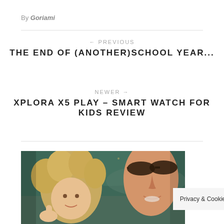By Goriami
← PREVIOUS
THE END OF (ANOTHER)SCHOOL YEAR...
NEWER →
XPLORA X5 PLAY - SMART WATCH FOR KIDS REVIEW
[Figure (photo): A close-up photo of two people outdoors near water: a curly-haired child giving a thumbs up and an adult wearing dark sunglasses.]
Privacy & Cookies Policy